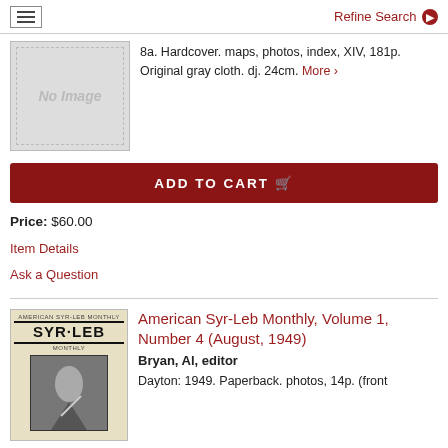Refine Search
[Figure (photo): No Image placeholder box with dashed border]
8a. Hardcover. maps, photos, index, XIV, 181p. Original gray cloth. dj. 24cm. More ›
ADD TO CART
Price: $60.00
Item Details
Ask a Question
[Figure (photo): Cover image of American Syr-Leb Monthly publication showing SYR-LEB title and photo]
American Syr-Leb Monthly, Volume 1, Number 4 (August, 1949)
Bryan, Al, editor
Dayton: 1949. Paperback. photos, 14p. (front